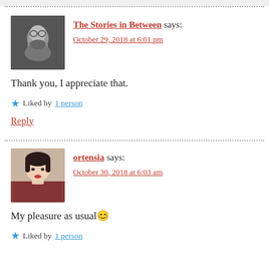The Stories in Between says: October 29, 2018 at 6:01 pm
Thank you, I appreciate that.
Liked by 1 person
Reply
ortensia says: October 30, 2018 at 6:03 am
My pleasure as usual 😊
Liked by 1 person